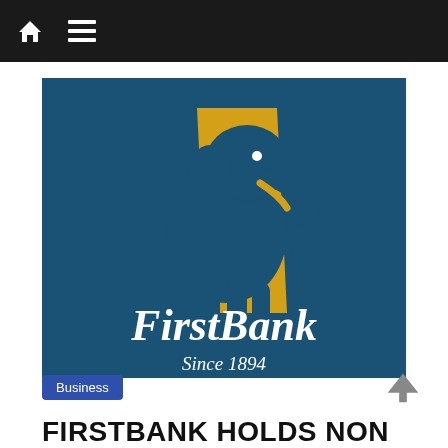Navigation bar with home and menu icons
[Figure (logo): FirstBank logo on dark teal/blue background: elephant silhouette in gold with FirstBank wordmark in white italic, 'Since 1894' subtitle in white italic]
Business
FIRSTBANK HOLDS NON